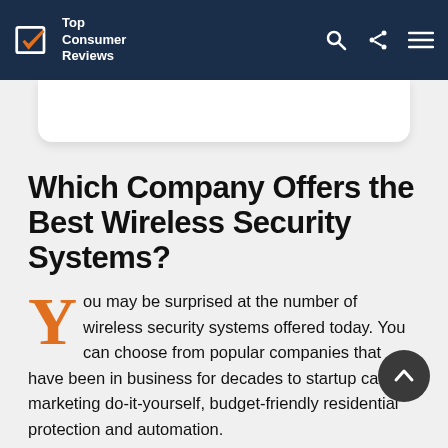Top Consumer Reviews
Which Company Offers the Best Wireless Security Systems?
You may be surprised at the number of wireless security systems offered today. You can choose from popular companies that have been in business for decades to startup carriers marketing do-it-yourself, budget-friendly residential protection and automation.
There are many factors to consider when selecting a